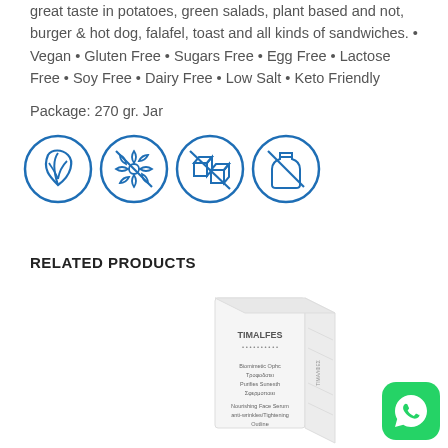great taste in potatoes, green salads, plant based and not, burger & hot dog, falafel, toast and all kinds of sandwiches. • Vegan • Gluten Free • Sugars Free • Egg Free • Lactose Free • Soy Free • Dairy Free • Low Salt • Keto Friendly
Package: 270 gr. Jar
[Figure (illustration): Four blue circular icons: vegan leaf, gluten-free crossed grain, sugar-free crossed cubes, lactose-free crossed bottle]
RELATED PRODUCTS
[Figure (photo): Product photo of TIMALFES face serum box, white packaging with text: Nourishing Face Serum anti-wrinkles/Tightening Outline]